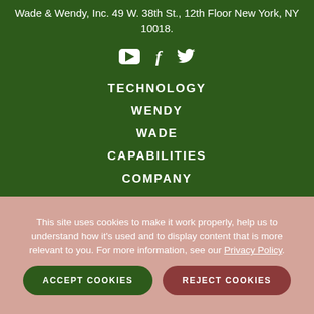Wade & Wendy, Inc. 49 W. 38th St., 12th Floor New York, NY 10018.
[Figure (infographic): Social media icons: YouTube, Facebook, Twitter in white on dark green background]
TECHNOLOGY
WENDY
WADE
CAPABILITIES
COMPANY
This site uses cookies to make it work properly, help us to understand how it's used and to display content that is more relevant to you. For more information, see our Privacy Policy.
ACCEPT COOKIES
REJECT COOKIES